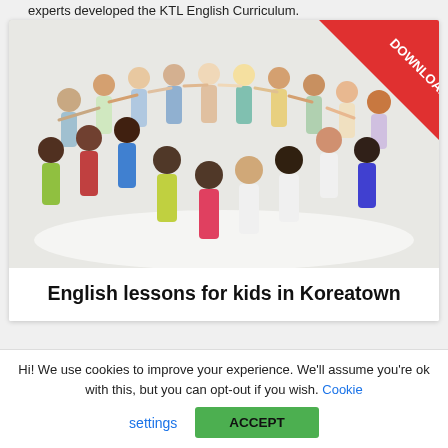experts developed the KTL English Curriculum.
[Figure (photo): Group of diverse young people standing in a circle holding hands, viewed from above on white background, with a red 'DOWNLOAD' banner in the top-right corner. Caption below reads 'English lessons for kids in Koreatown'.]
English lessons for kids in Koreatown
Hi! We use cookies to improve your experience. We'll assume you're ok with this, but you can opt-out if you wish. Cookie settings ACCEPT